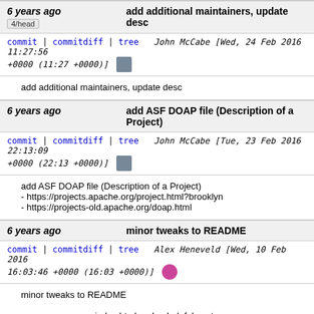6 years ago | add additional maintainers, update desc
commit | commitdiff | tree  John McCabe [Wed, 24 Feb 2016 11:27:56 +0000 (11:27 +0000)]
add additional maintainers, update desc
6 years ago | add ASF DOAP file (Description of a Project)
commit | commitdiff | tree  John McCabe [Tue, 23 Feb 2016 22:13:09 +0000 (22:13 +0000)]
add ASF DOAP file (Description of a Project)
- https://projects.apache.org/project.html?brooklyn
- https://projects-old.apache.org/doap.html
6 years ago | minor tweaks to README
commit | commitdiff | tree  Alex Heneveld [Wed, 10 Feb 2016 16:03:46 +0000 (16:03 +0000)]
minor tweaks to README
grammar, remove index.html and unhelpful senter